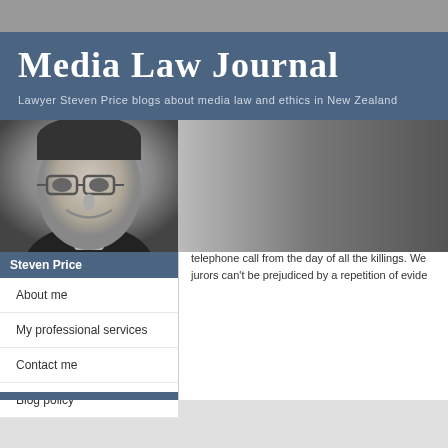Media Law Journal
Lawyer Steven Price blogs about media law and ethics in New Zealand
[Figure (photo): Black and white photo of Steven Price, a man with glasses smiling]
Steven Price
About me
My professional services
Contact me
Blog policy
Archive for March, 2009
« Previous Entries
Bain call
Wednesday, March 25th, 2009
Can't say I understand why Justice Pankhurst ref telephone call from the day of all the killings. We jurors can't be prejudiced by a repetition of evide